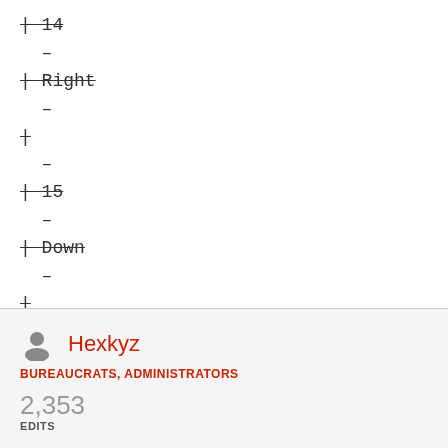| 14
 –
| Right
 –
| 
 –
| 15
 –
| Down
 –
| 
 –
| 16
Hexkyz
BUREAUCRATS, ADMINISTRATORS
2,353
EDITS